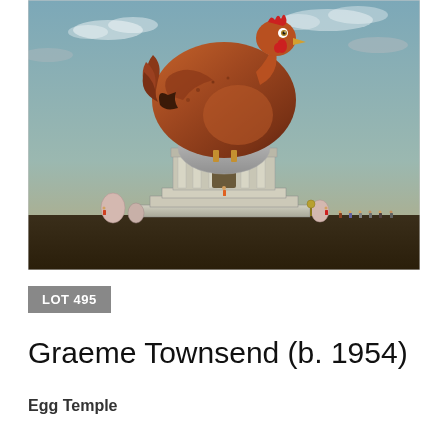[Figure (illustration): Painting by Graeme Townsend titled 'Egg Temple'. A giant brown hen stands atop a white dome on a classical temple-like stepped stone structure. The sky is blue-grey with clouds. Around the base of the temple stand tiny human figures and large eggs. The overall mood is surrealist.]
LOT 495
Graeme Townsend (b. 1954)
Egg Temple